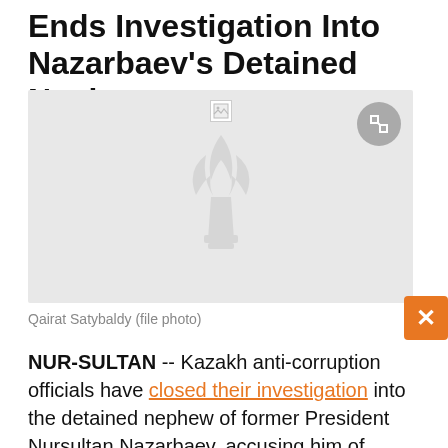Ends Investigation Into Nazarbaev's Detained Nephew
[Figure (photo): Placeholder image area with RFE/RL watermark logo and expand button. Broken image icon visible at top center.]
Qairat Satybaldy (file photo)
NUR-SULTAN -- Kazakh anti-corruption officials have closed their investigation into the detained nephew of former President Nursultan Nazarbaev, accusing him of embezzling millions